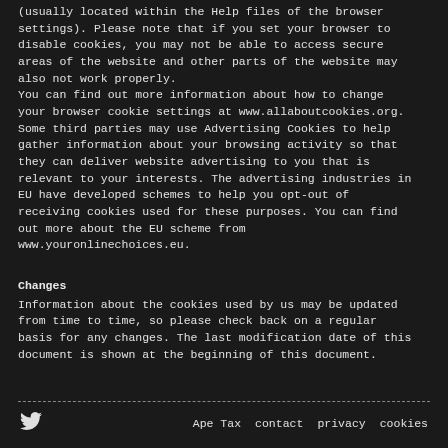(usually located within the Help files of the browser settings). Please note that if you set your browser to disable cookies, you may not be able to access secure areas of the website and other parts of the website may also not work properly. You can find out more information about how to change your browser cookie settings at www.allaboutcookies.org. Some third parties may use Advertising Cookies to help gather information about your browsing activity so that they can deliver website advertising to you that is relevant to your interests. The advertising industries in EU have developed schemes to help you opt-out of receiving cookies used for these purposes. You can find out more about the EU scheme from www.youronlinechoices.eu.
Changes
Information about the cookies used by us may be updated from time to time, so please check back on a regular basis for any changes. The last modification date of this document is shown at the beginning of this document.
Ape Tax  contact  privacy  cookies